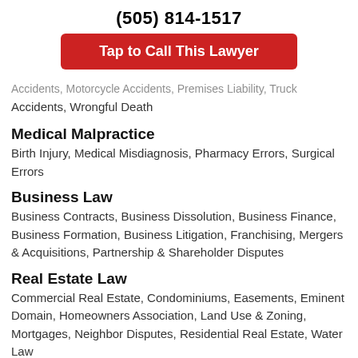(505) 814-1517
[Figure (other): Red button labeled 'Tap to Call This Lawyer']
Accidents, Motorcycle Accidents, Premises Liability, Truck Accidents, Wrongful Death
Medical Malpractice
Birth Injury, Medical Misdiagnosis, Pharmacy Errors, Surgical Errors
Business Law
Business Contracts, Business Dissolution, Business Finance, Business Formation, Business Litigation, Franchising, Mergers & Acquisitions, Partnership & Shareholder Disputes
Real Estate Law
Commercial Real Estate, Condominiums, Easements, Eminent Domain, Homeowners Association, Land Use & Zoning, Mortgages, Neighbor Disputes, Residential Real Estate, Water Law